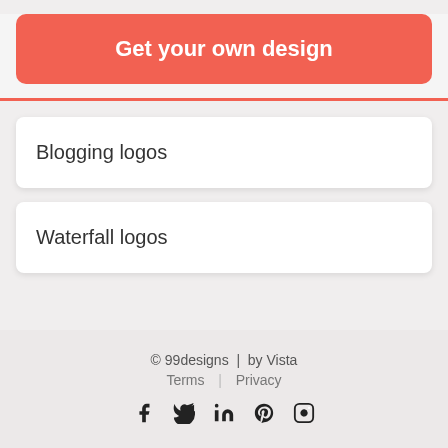Get your own design
Blogging logos
Waterfall logos
© 99designs  |  by Vista
Terms  |  Privacy